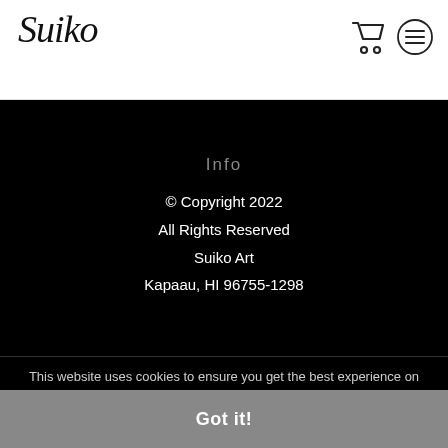Suiko
Info
© Copyright 2022
All Rights Reserved
Suiko Art
Kapaau, HI 96755-1298
This website uses cookies to ensure you get the best experience on our website.
Got it!